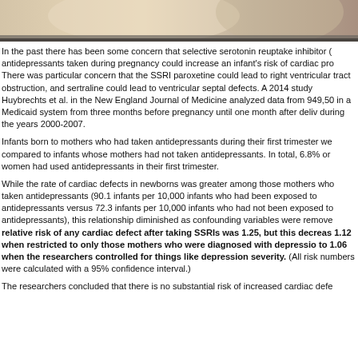[Figure (photo): Photograph of a pregnant woman or mother with infant, cropped at top of page]
In the past there has been some concern that selective serotonin reuptake inhibitor (SSRI) antidepressants taken during pregnancy could increase an infant's risk of cardiac problems. There was particular concern that the SSRI paroxetine could lead to right ventricular outflow tract obstruction, and sertraline could lead to ventricular septal defects. A 2014 study by Huybrechts et al. in the New England Journal of Medicine analyzed data from 949,504 women in a Medicaid system from three months before pregnancy until one month after delivery during the years 2000-2007.
Infants born to mothers who had taken antidepressants during their first trimester were compared to infants whose mothers had not taken antidepressants. In total, 6.8% or women had used antidepressants in their first trimester.
While the rate of cardiac defects in newborns was greater among those mothers who had taken antidepressants (90.1 infants per 10,000 infants who had been exposed to antidepressants versus 72.3 infants per 10,000 infants who had not been exposed to antidepressants), this relationship diminished as confounding variables were removed. The relative risk of any cardiac defect after taking SSRIs was 1.25, but this decreased to 1.12 when restricted to only those mothers who were diagnosed with depression, and to 1.06 when the researchers controlled for things like depression severity. (All relative risk numbers were calculated with a 95% confidence interval.)
The researchers concluded that there is no substantial risk of increased cardiac defe